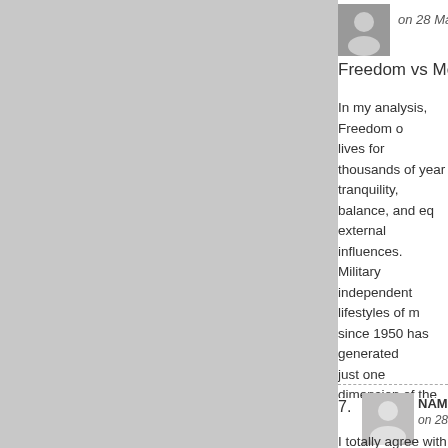[Figure (photo): Small avatar photo of a person, partially visible at top right]
on 28 May 20
Freedom vs Meaningful Au
In my analysis, Freedom o lives for thousands of year tranquility, balance, and eq external influences. Military independent lifestyles of m since 1950 has generated just one dimension of the p exploitation of land its natu about political freedom or n Autonomy will have no rele that will allow natural facto direct Tibetan living experie
7.
[Figure (illustration): Generic user avatar icon (grey silhouette)]
NAMGYA
on 28 May 20
I totally agree with Senge f